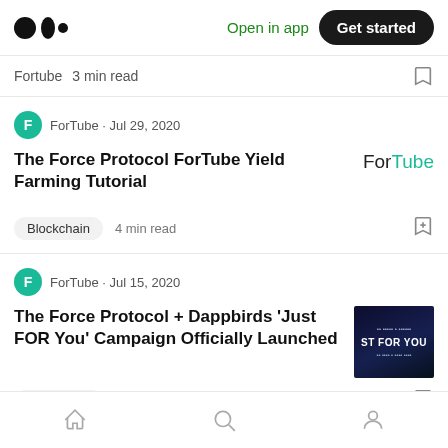Medium — Open in app | Get started
Fortube · 3 min read
ForTube · Jul 29, 2020
The Force Protocol ForTube Yield Farming Tutorial
Blockchain  4 min read
ForTube · Jul 15, 2020
The Force Protocol + Dappbirds 'Just FOR You' Campaign Officially Launched
Blockchain  1 min read
Home | Search | Profile